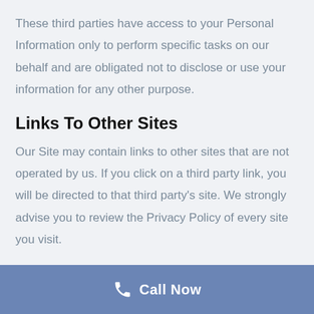These third parties have access to your Personal Information only to perform specific tasks on our behalf and are obligated not to disclose or use your information for any other purpose.
Links To Other Sites
Our Site may contain links to other sites that are not operated by us. If you click on a third party link, you will be directed to that third party's site. We strongly advise you to review the Privacy Policy of every site you visit.
Call Now